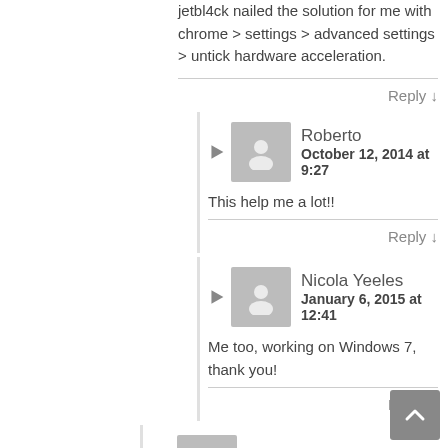jetbl4ck nailed the solution for me with chrome > settings > advanced settings > untick hardware acceleration.
Reply ↓
Roberto
October 12, 2014 at 9:27
This help me a lot!!
Reply ↓
Nicola Yeeles
January 6, 2015 at 12:41
Me too, working on Windows 7, thank you!
Reply ↓
11. Stender
September 21, 2014 at
What worked for me on Mac Chrome was just going to chrome://history and clearing the cache